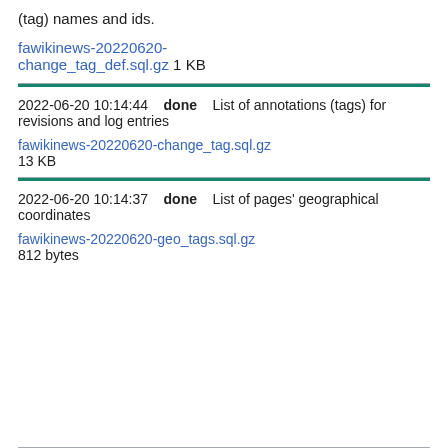(tag) names and ids.
fawikinews-20220620-change_tag_def.sql.gz 1 KB
2022-06-20 10:14:44    done    List of annotations (tags) for revisions and log entries
fawikinews-20220620-change_tag.sql.gz 13 KB
2022-06-20 10:14:37    done    List of pages' geographical coordinates
fawikinews-20220620-geo_tags.sql.gz 812 bytes